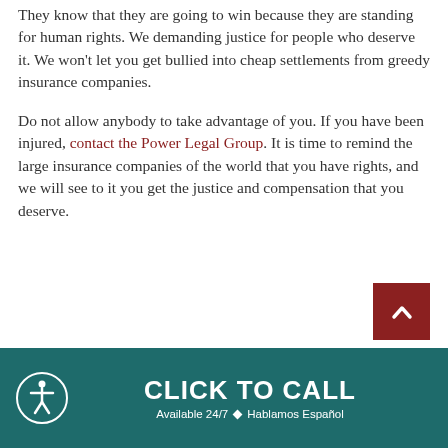They know that they are going to win because they are standing for human rights. We demanding justice for people who deserve it. We won't let you get bullied into cheap settlements from greedy insurance companies.
Do not allow anybody to take advantage of you. If you have been injured, contact the Power Legal Group. It is time to remind the large insurance companies of the world that you have rights, and we will see to it you get the justice and compensation that you deserve.
[Figure (other): Dark red scroll-to-top button with upward chevron arrow]
CLICK TO CALL
Available 24/7 ◆ Hablamos Español